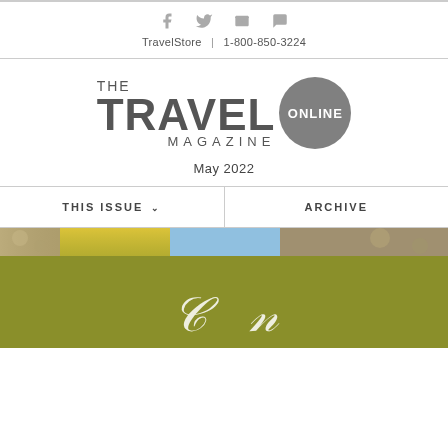TravelStore | 1-800-850-3224
[Figure (logo): The Travel Online Magazine logo with circle badge]
May 2022
THIS ISSUE  ARCHIVE
[Figure (photo): Olive green section with a banner strip showing nature/travel photos at top, and partial cursive white text at bottom]